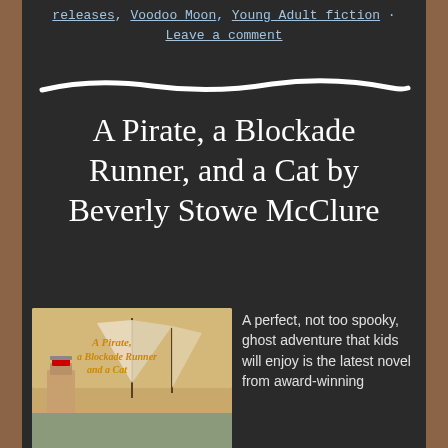releases, Voodoo Moon, Young Adult fiction · Leave a comment
[Figure (illustration): Hand-drawn white wavy horizontal divider line on dark background]
A Pirate, a Blockade Runner, and a Cat by Beverly Stowe McClure
[Figure (illustration): Book cover for 'A Pirate, a Blockade Runner and a Cat' showing a lighthouse and sailing ship]
A perfect, not too spooky, ghost adventure that kids will enjoy is the latest novel from award-winning